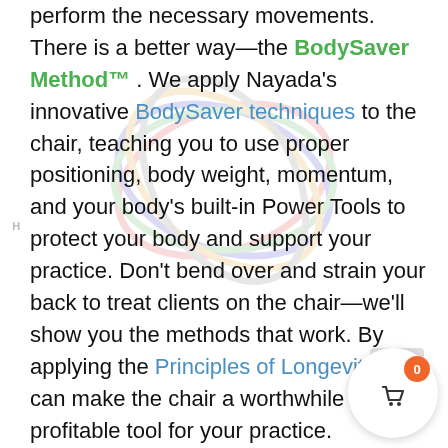perform the necessary movements. There is a better way—the BodySaver Method™. We apply Nayada's innovative BodySaver techniques to the chair, teaching you to use proper positioning, body weight, momentum, and your body's built-in Power Tools to protect your body and support your practice. Don't bend over and strain your back to treat clients on the chair—we'll show you the methods that work. By applying the Principles of Longevity, you can make the chair a worthwhile and profitable tool for your practice.

Many massage therapists think of the chair as